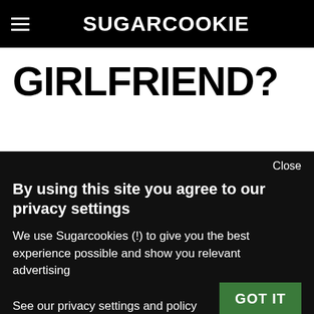SUGARCOOKIE
GIRLFRIEND?
Close
By using this site you agree to our privacy settings
We use Sugarcookies (!) to give you the best experience possible and show you relevant advertising
See our privacy settings and policy
GOT IT